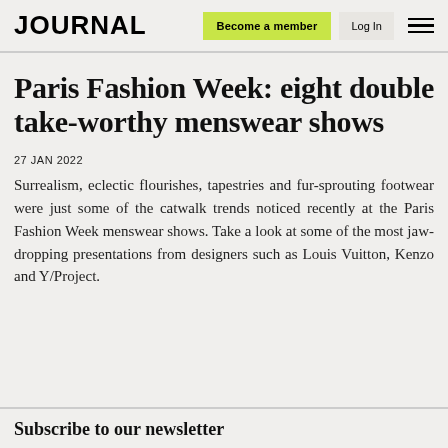JOURNAL | Become a member | Log In
Paris Fashion Week: eight double take-worthy menswear shows
27 JAN 2022
Surrealism, eclectic flourishes, tapestries and fur-sprouting footwear were just some of the catwalk trends noticed recently at the Paris Fashion Week menswear shows. Take a look at some of the most jaw-dropping presentations from designers such as Louis Vuitton, Kenzo and Y/Project.
Subscribe to our newsletter